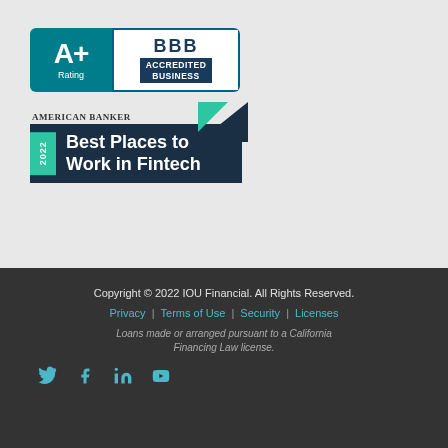[Figure (logo): BBB A+ Rating Accredited Business badge with teal left panel showing A+ grade and Rating, white right panel with BBB logo and dark blue Accredited Business banner]
[Figure (logo): American Banker 2022 Best Places to Work in Fintech badge with dark navy background, teal year bar, and teal/navy corner triangle]
Copyright © 2022 IOU Financial. All Rights Reserved. Privacy | Terms of Use | Security | Licenses Loans made or arranged pursuant to a California Financing Law license.